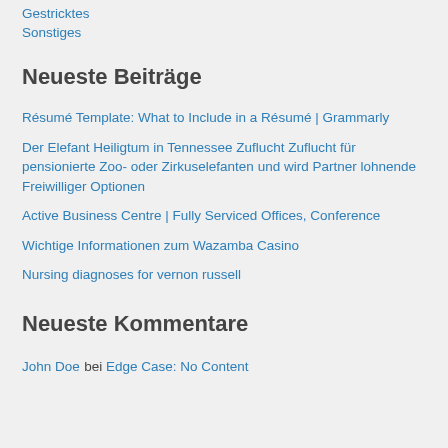Gestricktes
Sonstiges
Neueste Beiträge
Résumé Template: What to Include in a Résumé | Grammarly
Der Elefant Heiligtum in Tennessee Zuflucht Zuflucht für pensionierte Zoo- oder Zirkuselefanten und wird Partner lohnende Freiwilliger Optionen
Active Business Centre | Fully Serviced Offices, Conference
Wichtige Informationen zum Wazamba Casino
Nursing diagnoses for vernon russell
Neueste Kommentare
John Doe bei Edge Case: No Content